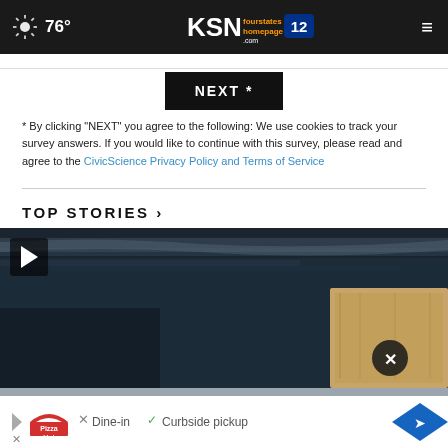76° KSN fourstates homepage .com 12
NEXT *
* By clicking "NEXT" you agree to the following: We use cookies to track your survey answers. If you would like to continue with this survey, please read and agree to the CivicScience Privacy Policy and Terms of Service
TOP STORIES ›
[Figure (photo): News story image showing a dark roof or underside of a structure with a wood plank leaning against it. A video play button is visible in the top left. A close (x) button is in the lower right area. A Pizza Hut advertisement bar appears at the bottom: 'Dine-in  Curbside pickup']